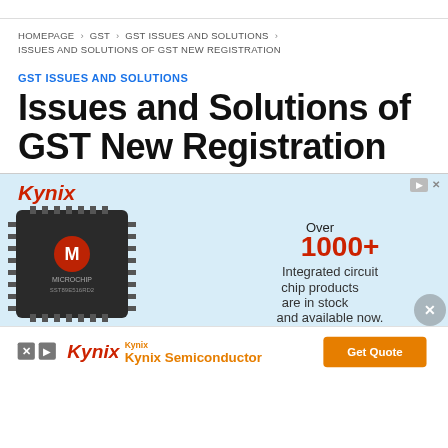HOMEPAGE > GST > GST ISSUES AND SOLUTIONS > ISSUES AND SOLUTIONS OF GST NEW REGISTRATION
GST ISSUES AND SOLUTIONS
Issues and Solutions of GST New Registration
[Figure (photo): Kynix advertisement banner with a Microchip integrated circuit chip (SST89E516RD2), text reading 'Over 1000+ Integrated circuit chip products are in stock and available now.']
[Figure (photo): Kynix Semiconductor bottom advertisement bar with orange 'Get Quote' button]